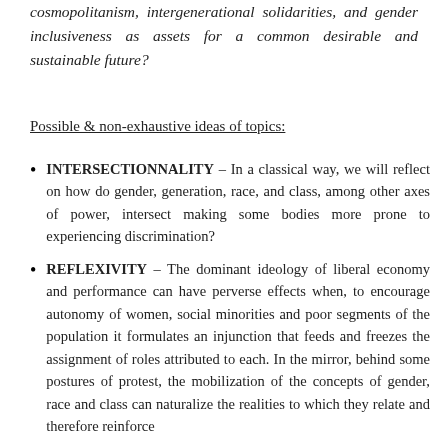cosmopolitanism, intergenerational solidarities, and gender inclusiveness as assets for a common desirable and sustainable future?
Possible & non-exhaustive ideas of topics:
INTERSECTIONNALITY – In a classical way, we will reflect on how do gender, generation, race, and class, among other axes of power, intersect making some bodies more prone to experiencing discrimination?
REFLEXIVITY – The dominant ideology of liberal economy and performance can have perverse effects when, to encourage autonomy of women, social minorities and poor segments of the population it formulates an injunction that feeds and freezes the assignment of roles attributed to each. In the mirror, behind some postures of protest, the mobilization of the concepts of gender, race and class can naturalize the realities to which they relate and therefore reinforce